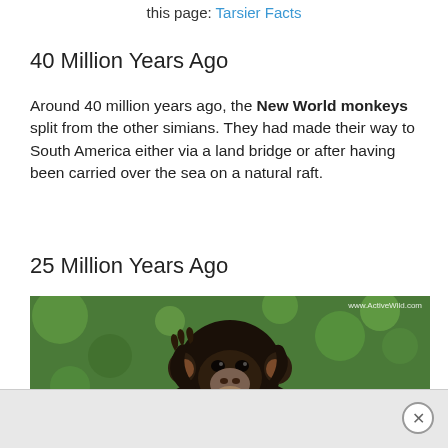this page: Tarsier Facts
40 Million Years Ago
Around 40 million years ago, the New World monkeys split from the other simians. They had made their way to South America either via a land bridge or after having been carried over the sea on a natural raft.
25 Million Years Ago
[Figure (photo): A chimpanzee sitting against a green bokeh background, with hands raised near its face, watermark reading www.ActiveWild.com in upper right corner]